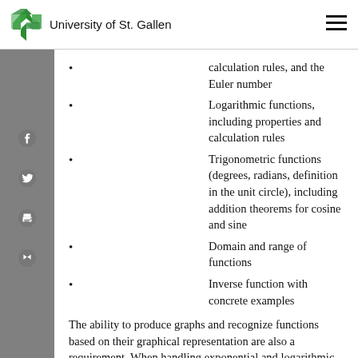University of St. Gallen
calculation rules, and the Euler number
Logarithmic functions, including properties and calculation rules
Trigonometric functions (degrees, radians, definition in the unit circle), including addition theorems for cosine and sine
Domain and range of functions
Inverse function with concrete examples
The ability to produce graphs and recognize functions based on their graphical representation are also a requirement. When handling exponential and logarithmic functions, as well as trigonometric functions, knowledge of the most important function values is a necessity.
3. Calculus
Limits
Continuity of functions of a real variable in the